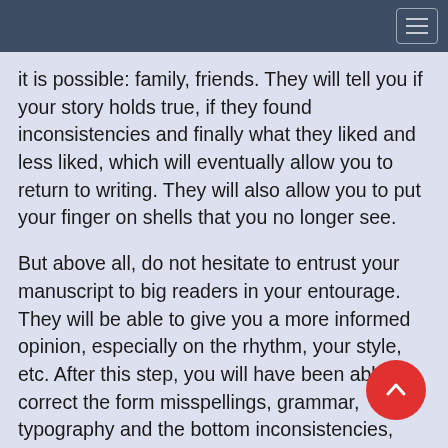it is possible: family, friends. They will tell you if your story holds true, if they found inconsistencies and finally what they liked and less liked, which will eventually allow you to return to writing. They will also allow you to put your finger on shells that you no longer see.
But above all, do not hesitate to entrust your manuscript to big readers in your entourage. They will be able to give you a more informed opinion, especially on the rhythm, your style, etc. After this step, you will have been able to correct the form misspellings, grammar, typography and the bottom inconsistencies, rhythm, etc.